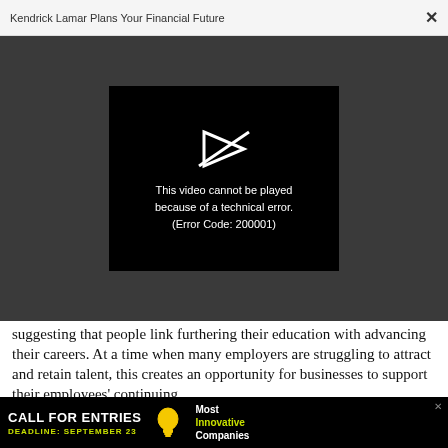Kendrick Lamar Plans Your Financial Future
[Figure (screenshot): Video player showing error message: 'This video cannot be played because of a technical error. (Error Code: 200001)' on a black background, within a dark gray browser modal window.]
suggesting that people link furthering their education with advancing their careers. At a time when many employers are struggling to attract and retain talent, this creates an opportunity for businesses to support their employees' continuing
[Figure (infographic): Advertisement banner reading 'CALL FOR ENTRIES' with 'DEADLINE: SEPTEMBER 23' in yellow and 'Most Innovative Companies' on the right side, with a lightbulb icon.]